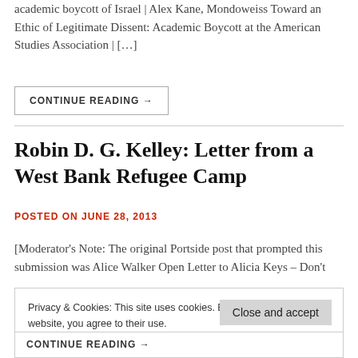academic boycott of Israel | Alex Kane, Mondoweiss Toward an Ethic of Legitimate Dissent: Academic Boycott at the American Studies Association | […]
CONTINUE READING →
Robin D. G. Kelley: Letter from a West Bank Refugee Camp
POSTED ON JUNE 28, 2013
[Moderator's Note: The original Portside post that prompted this submission was Alice Walker Open Letter to Alicia Keys – Don't
Privacy & Cookies: This site uses cookies. By continuing to use this website, you agree to their use.
To find out more, including how to control cookies, see here: Cookie Policy
Close and accept
CONTINUE READING →